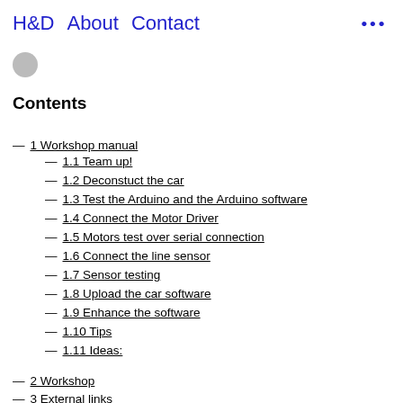H&D  About  Contact  ...
Contents
1 Workshop manual
1.1 Team up!
1.2 Deconstuct the car
1.3 Test the Arduino and the Arduino software
1.4 Connect the Motor Driver
1.5 Motors test over serial connection
1.6 Connect the line sensor
1.7 Sensor testing
1.8 Upload the car software
1.9 Enhance the software
1.10 Tips
1.11 Ideas:
2 Workshop
3 External links